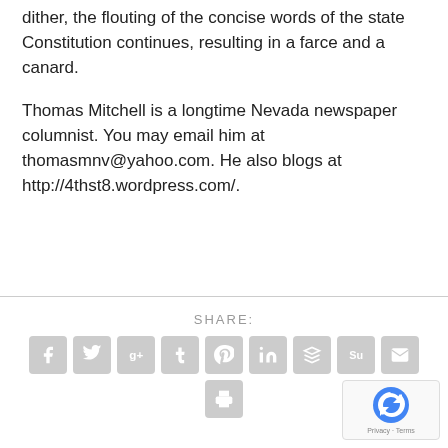dither, the flouting of the concise words of the state Constitution continues, resulting in a farce and a canard.
Thomas Mitchell is a longtime Nevada newspaper columnist. You may email him at thomasmnv@yahoo.com. He also blogs at http://4thst8.wordpress.com/.
[Figure (infographic): Social share bar with icons for Facebook, Twitter, Google+, Tumblr, Pinterest, LinkedIn, Buffer, StumbleUpon, Email, and Print. Labeled SHARE:]